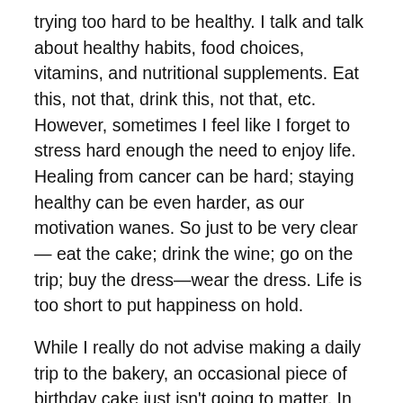trying too hard to be healthy. I talk and talk about healthy habits, food choices, vitamins, and nutritional supplements. Eat this, not that, drink this, not that, etc. However, sometimes I feel like I forget to stress hard enough the need to enjoy life.
Healing from cancer can be hard; staying healthy can be even harder, as our motivation wanes. So just to be very clear — eat the cake; drink the wine; go on the trip; buy the dress—wear the dress. Life is too short to put happiness on hold.

While I really do not advise making a daily trip to the bakery, an occasional piece of birthday cake just isn't going to matter. In fact, it will bring essential joy as you celebrate your or a loved one's birthday. We know that sugar feeds cancer, but these days, so does everything else, so it seems — so an occasional treat is not all that